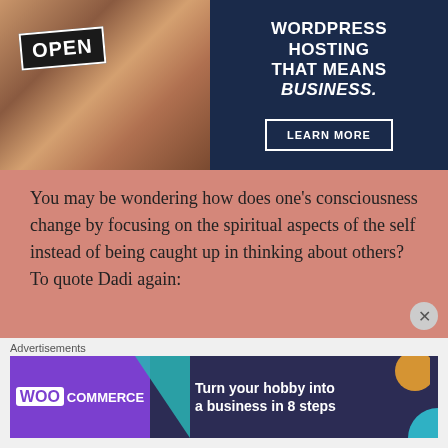[Figure (photo): Advertisement banner showing a woman holding an OPEN sign, next to text reading WORDPRESS HOSTING THAT MEANS BUSINESS. with a LEARN MORE button on dark navy background]
You may be wondering how does one's consciousness change by focusing on the spiritual aspects of the self instead of being caught up in thinking about others?  To quote Dadi again:
“An enlightened person understands that there is
[Figure (photo): WooCommerce advertisement banner: Turn your hobby into a business in 8 steps, with teal triangle and orange circle decorations on dark background]
Advertisements